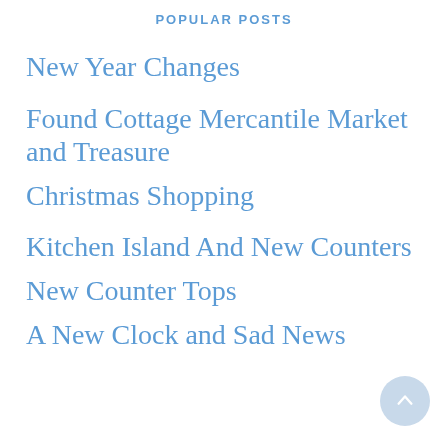POPULAR POSTS
New Year Changes
Found Cottage Mercantile Market and Treasure
Christmas Shopping
Kitchen Island And New Counters
New Counter Tops
A New Clock and Sad News